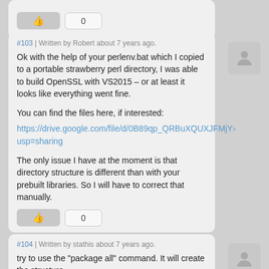#103 | Written by Robert about 7 years ago.
Ok with the help of your perlenv.bat which I copied to a portable strawberry perl directory, I was able to build OpenSSL with VS2015 – or at least it looks like everything went fine.

You can find the files here, if interested:
https://drive.google.com/file/d/0B89qp_QRBuXQUXJFMjY›usp=sharing

The only issue I have at the moment is that directory structure is different than with your prebuilt libraries. So I will have to correct that manually.
#104 | Written by stathis about 7 years ago.
try to use the "package all" command. It will create the structure.